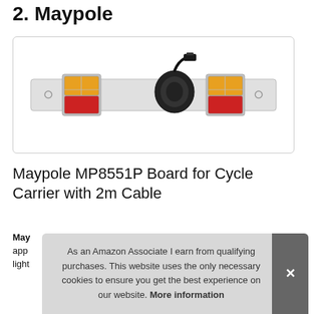2. Maypole
[Figure (photo): Maypole MP8551P light board for cycle carrier, showing a white rectangular bar with amber and red tail lights on each end, and a coiled black cable with connector in the center]
Maypole MP8551P Board for Cycle Carrier with 2m Cable
May
app
light
As an Amazon Associate I earn from qualifying purchases. This website uses the only necessary cookies to ensure you get the best experience on our website. More information
More information